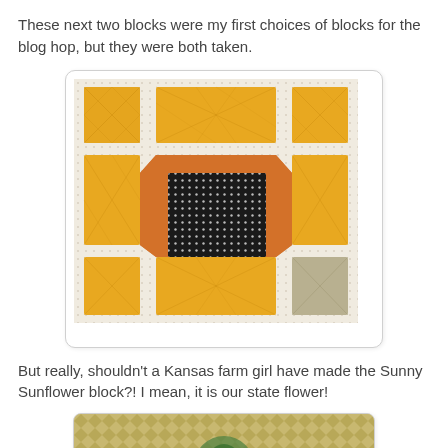These next two blocks were my first choices of blocks for the blog hop, but they were both taken.
[Figure (photo): A sunflower quilt block with yellow patterned fabric squares at corners and sides, an orange octagon border, and a black polka-dot center square, on a white dotted background.]
But really, shouldn't a Kansas farm girl have made the Sunny Sunflower block?! I mean, it is our state flower!
[Figure (photo): Partial view of another quilt block at the bottom of the page, showing yellow and green patterned fabric.]